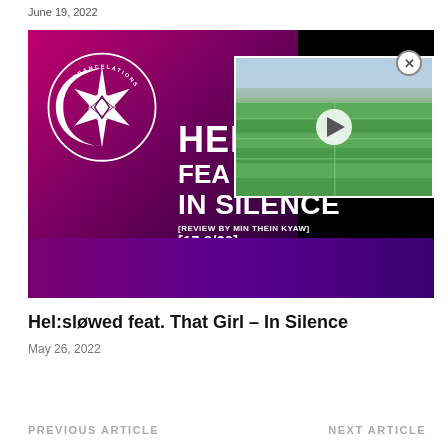June 19, 2022
[Figure (photo): Music review thumbnail for 'Hel:sløwed feat. That Girl – In Silence' showing Our Trancelations logo (crescent moon with star) on a pink/magenta gradient background with white bold text reading 'HEL... FEAT. THAT GIRL IN SILENCE [REVIEW BY MIN THEIN KYAW] [17.8/20]'. Overlaid in the top-right corner is a video player thumbnail showing a green sports field/soccer pitch with a play button, and an X close button.]
Hel:sløwed feat. That Girl – In Silence
May 26, 2022
PREVIOUS ARTICLE
NEXT ARTICLE